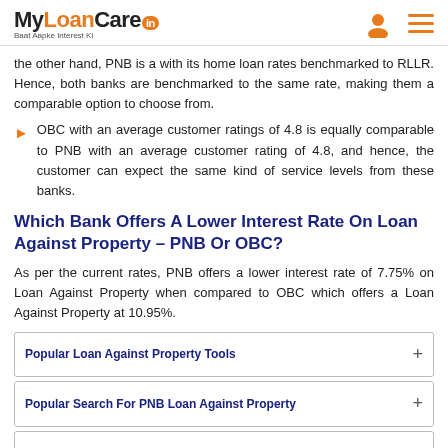MyLoanCare.in Baat Aapke Interest Ki
the other hand, PNB is a with its home loan rates benchmarked to RLLR. Hence, both banks are benchmarked to the same rate, making them a comparable option to choose from.
OBC with an average customer ratings of 4.8 is equally comparable to PNB with an average customer rating of 4.8, and hence, the customer can expect the same kind of service levels from these banks.
Which Bank Offers A Lower Interest Rate On Loan Against Property – PNB Or OBC?
As per the current rates, PNB offers a lower interest rate of 7.75% on Loan Against Property when compared to OBC which offers a Loan Against Property at 10.95%.
Popular Loan Against Property Tools
Popular Search For PNB Loan Against Property
Popular Search For OBC Loan Against Property
Compare PNB Loan Against Property With Other Banks
Compare OBC Loan Against Property With Other Banks